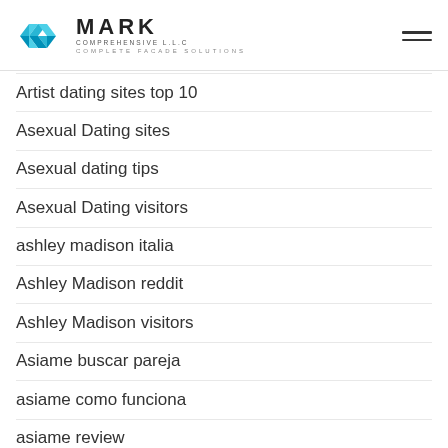MARK COMPREHENSIVE L.L.C — COMPLETE FACADE SOLUTIONS
Artist dating sites top 10
Asexual Dating sites
Asexual dating tips
Asexual Dating visitors
ashley madison italia
Ashley Madison reddit
Ashley Madison visitors
Asiame buscar pareja
asiame como funciona
asiame review